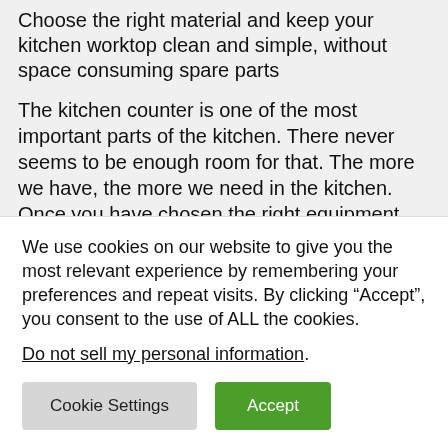Choose the right material and keep your kitchen worktop clean and simple, without space consuming spare parts
The kitchen counter is one of the most important parts of the kitchen. There never seems to be enough room for that. The more we have, the more we need in the kitchen. Once you have chosen the right equipment and lighting, you can start planning the organization.
It is important that your kitchen worktop...
We use cookies on our website to give you the most relevant experience by remembering your preferences and repeat visits. By clicking “Accept”, you consent to the use of ALL the cookies.
Do not sell my personal information.
Cookie Settings | Accept